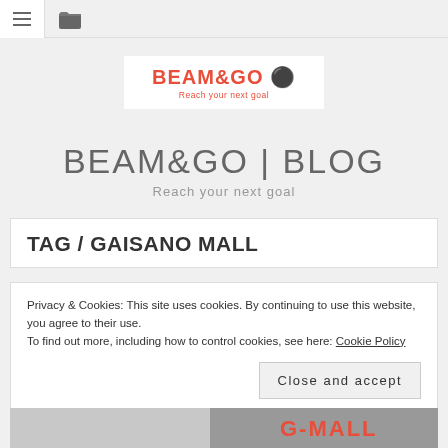Navigation bar with menu and folder icons
[Figure (logo): BEAM&GO logo with tagline 'Reach your next goal' in a white box]
BEAM&GO | BLOG
Reach your next goal
TAG / GAISANO MALL
Privacy & Cookies: This site uses cookies. By continuing to use this website, you agree to their use.
To find out more, including how to control cookies, see here: Cookie Policy
Close and accept
[Figure (photo): Bottom strip showing G-MALL signage]